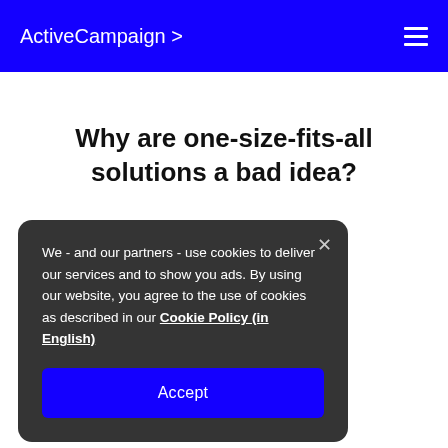ActiveCampaign >
Why are one-size-fits-all solutions a bad idea?
All-in-one solutions claim to be able to satisfy ... to satisfy businesses have ... over time.
We - and our partners - use cookies to deliver our services and to show you ads. By using our website, you agree to the use of cookies as described in our Cookie Policy (in English)
Accept